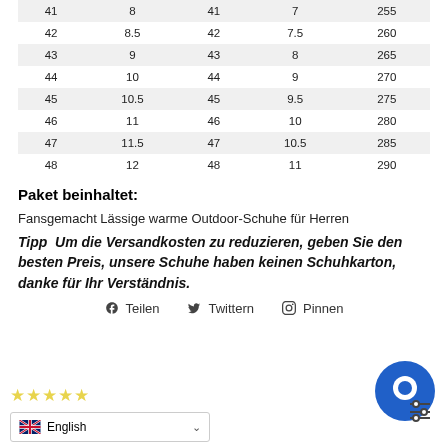| 41 | 8 | 41 | 7 | 255 |
| 42 | 8.5 | 42 | 7.5 | 260 |
| 43 | 9 | 43 | 8 | 265 |
| 44 | 10 | 44 | 9 | 270 |
| 45 | 10.5 | 45 | 9.5 | 275 |
| 46 | 11 | 46 | 10 | 280 |
| 47 | 11.5 | 47 | 10.5 | 285 |
| 48 | 12 | 48 | 11 | 290 |
Paket beinhaltet:
Fansgemacht Lässige warme Outdoor-Schuhe für Herren
Tipp  Um die Versandkosten zu reduzieren, geben Sie den besten Preis, unsere Schuhe haben keinen Schuhkarton, danke für Ihr Verständnis.
Teilen   Twittern   Pinnen